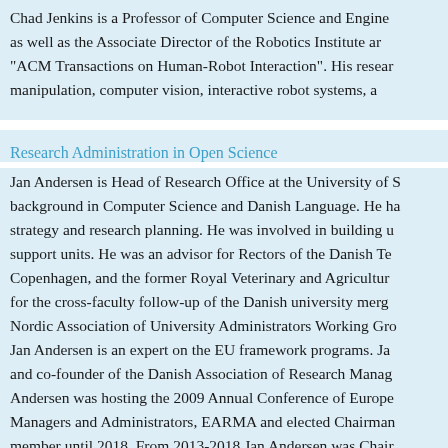Chad Jenkins is a Professor of Computer Science and Engineering as well as the Associate Director of the Robotics Institute and "ACM Transactions on Human-Robot Interaction". His research: manipulation, computer vision, interactive robot systems, a…
Research Administration in Open Science
Jan Andersen is Head of Research Office at the University of S… background in Computer Science and Danish Language. He ha… strategy and research planning. He was involved in building u… support units. He was an advisor for Rectors of the Danish Te… Copenhagen, and the former Royal Veterinary and Agricultur… for the cross-faculty follow-up of the Danish university merg… Nordic Association of University Administrators Working Gro… Jan Andersen is an expert on the EU framework programs. Ja… and co-founder of the Danish Association of Research Manag… Andersen was hosting the 2009 Annual Conference of Europe… Managers and Administrators, EARMA and elected Chairman… member until 2018. From 2013-2018 Jan Andersen was Chair…